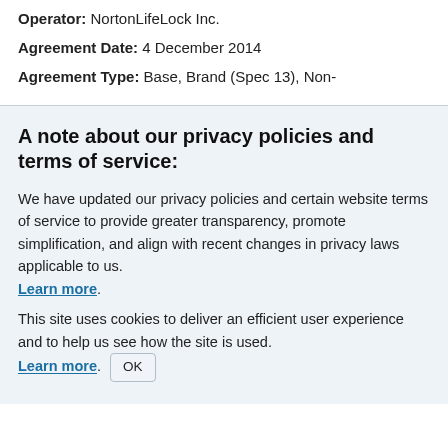Operator: NortonLifeLock Inc.
Agreement Date: 4 December 2014
Agreement Type: Base, Brand (Spec 13), Non-
A note about our privacy policies and terms of service:
We have updated our privacy policies and certain website terms of service to provide greater transparency, promote simplification, and align with recent changes in privacy laws applicable to us. Learn more.
This site uses cookies to deliver an efficient user experience and to help us see how the site is used. Learn more. OK